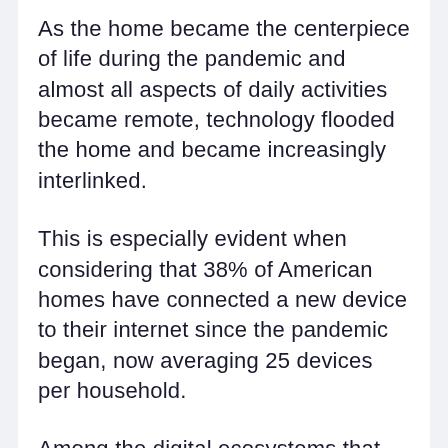As the home became the centerpiece of life during the pandemic and almost all aspects of daily activities became remote, technology flooded the home and became increasingly interlinked.
This is especially evident when considering that 38% of American homes have connected a new device to their internet since the pandemic began, now averaging 25 devices per household.
Among the digital ecosystems that have sprung up from this technological boom, healthcare and fitness have been standouts. 26% of owners of smartwatches and trackers also subscribe to a service that provides personalised healthcare and fitness updates